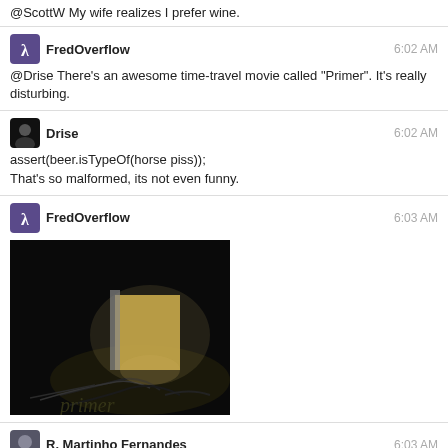@ScottW My wife realizes I prefer wine.
FredOverflow 6:02 AM
@Drise There's an awesome time-travel movie called "Primer". It's really disturbing.
Drise 6:02 AM
assert(beer.isTypeOf(horse piss));
That's so malformed, its not even funny.
FredOverflow 6:03 AM
[Figure (photo): Dark atmospheric movie poster for 'Primer' showing cables/wires on a floor forming the word 'primer' with a glowing box in background]
R. Martinho Fernandes 6:03 AM
It's awesome.
FredOverflow 6:03 AM
> It is also quite possibly the single geekiest film ever made; one that brings Techno Babble to a new art form.